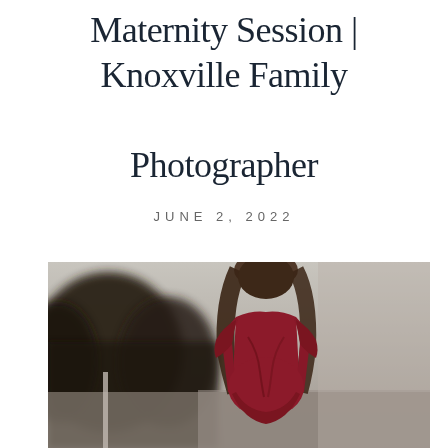Maternity Session | Knoxville Family Photographer
JUNE 2, 2022
[Figure (photo): A pregnant woman seen from behind, wearing a dark red/maroon short-sleeve wrap dress, with long brown hair. She is standing outdoors near water with dark trees in the blurred background. The lighting is warm and moody, suggesting late afternoon or overcast light.]